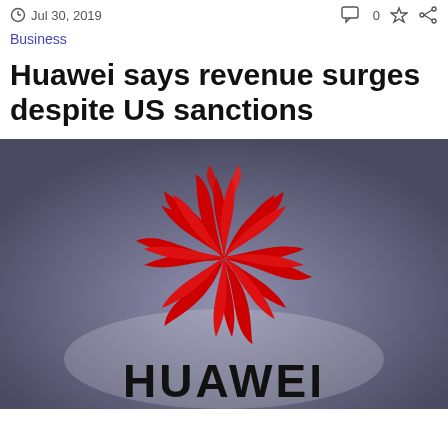Jul 30, 2019
Business
Huawei says revenue surges despite US sanctions
[Figure (photo): Huawei logo — illuminated red flower-petal logo above white HUAWEI lettering on a grey background]